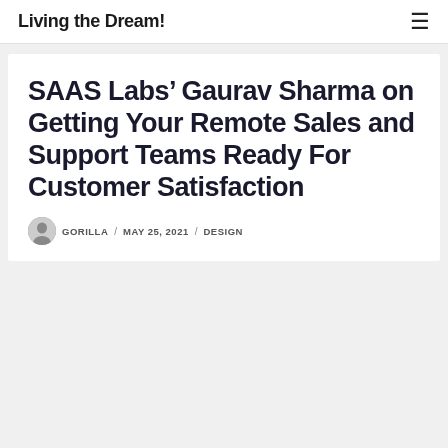Living the Dream!
SAAS Labs’ Gaurav Sharma on Getting Your Remote Sales and Support Teams Ready For Customer Satisfaction
GORILLA / MAY 25, 2021 / DESIGN